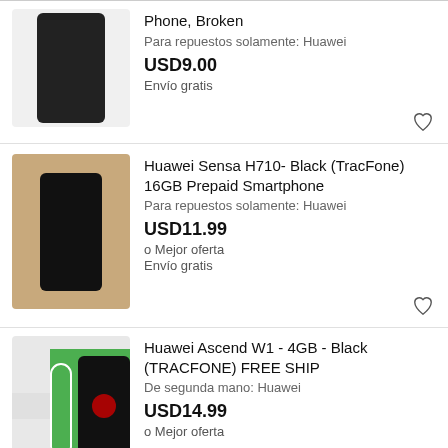[Figure (photo): Dark smartphone lying flat, Huawei phone, black screen]
Phone, Broken
Para repuestos solamente: Huawei
USD9.00
Envío gratis
[Figure (photo): Hand holding a black Huawei Sensa H710 smartphone showing boot screen]
Huawei Sensa H710- Black (TracFone) 16GB Prepaid Smartphone
Para repuestos solamente: Huawei
USD11.99
o Mejor oferta
Envío gratis
[Figure (photo): Huawei Ascend W1 black phone on green background with white charging cable]
Huawei Ascend W1 - 4GB - Black (TRACFONE) FREE SHIP
De segunda mano: Huawei
USD14.99
o Mejor oferta